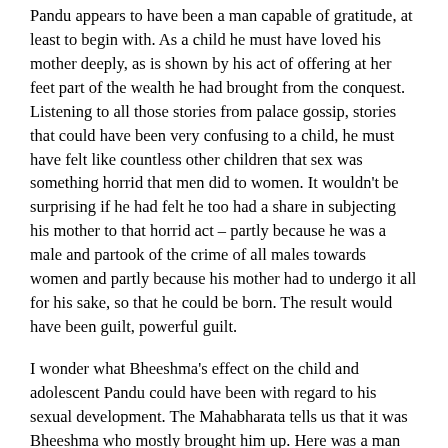Pandu appears to have been a man capable of gratitude, at least to begin with. As a child he must have loved his mother deeply, as is shown by his act of offering at her feet part of the wealth he had brought from the conquest. Listening to all those stories from palace gossip, stories that could have been very confusing to a child, he must have felt like countless other children that sex was something horrid that men did to women. It wouldn't be surprising if he had felt he too had a share in subjecting his mother to that horrid act – partly because he was a male and partook of the crime of all males towards women and partly because his mother had to undergo it all for his sake, so that he could be born. The result would have been guilt, powerful guilt.
I wonder what Bheeshma's effect on the child and adolescent Pandu could have been with regard to his sexual development. The Mahabharata tells us that it was Bheeshma who mostly brought him up. Here was a man who had become a legend in his own lifetime for more than anything else because he had denied sex to himself. The whole world looked up at him with awe. He had said no to women once and then, even when begged to break his vow, stuck to his vow. The Mahabharata does not tell us what his relations with Satyavati were – when Shantanu saw her and fell hopelessly in love with her, Devavrata had already been officially appointed the crown prince and what she had done was to snatch away from his head that crown of yuvaraja.